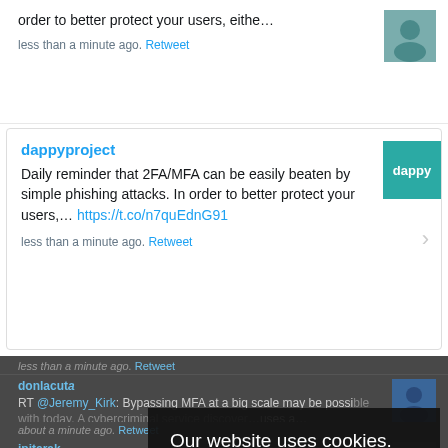order to better protect your users, eithe...
less than a minute ago. Retweet
dappyproject
Daily reminder that 2FA/MFA can be easily beaten by simple phishing attacks. In order to better protect your users,... https://t.co/n7quEdnG91
less than a minute ago. Retweet
donlacuta
RT @Jeremy_Kirk: Bypassing MFA at a big scale may be possible with today. A cybercriminal service discover...uses a...
about a minute ago. Retweet
jpiterak
RT @jeremy_kirk: Bypassing MFA at a big scale may be possible with today. A cybercriminal service discover...ecurity. It uses a...
Our website uses cookies. Cookies enable us to provide the best experience possible and help us understand how visitors use our website. By browsing databreachtoday.com, you agree to our use of cookies.